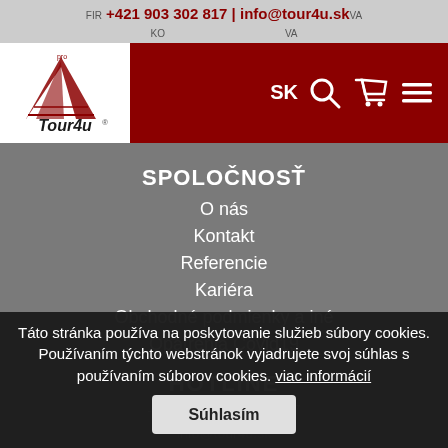FIRMA | +421 903 302 817 | info@tour4u.sk | NOVA
KO... NOVA
[Figure (logo): Tour4u travel agency logo - stylized ship sail with Tour4u text]
SPOLOČNOSŤ
O nás
Kontakt
Referencie
Kariéra
Obchodné podmienky a iné
Opatrenia Covid19
HOTLINE
+421 (0) 903 302 817
info@tour4u.sk
Táto stránka používa na poskytovanie služieb súbory cookies. Používaním týchto webstránok vyjadrujete svoj súhlas s používaním súborov cookies. viac informácií
Súhlasím